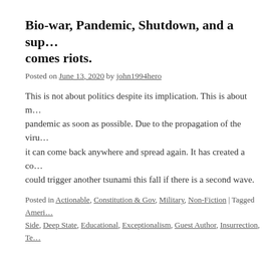Bio-war, Pandemic, Shutdown, and a sup… comes riots.
Posted on June 13, 2020 by john1994hero
This is not about politics despite its implication. This is about m… pandemic as soon as possible. Due to the propagation of the viru… it can come back anywhere and spread again. It has created a co… could trigger another tsunami this fall if there is a second wave.
Posted in Actionable, Constitution & Gov, Military, Non-Fiction | Tagged Ameri… Side, Deep State, Educational, Exceptionalism, Guest Author, Insurrection, Te…
Fear is the mind killer. It kills freedom.
Posted on March 22, 2020 by john1994hero
I take FDR's words to heart—that the only thing we have to fea… nameless, unreasoning terror paralyzes effort. Continue reading